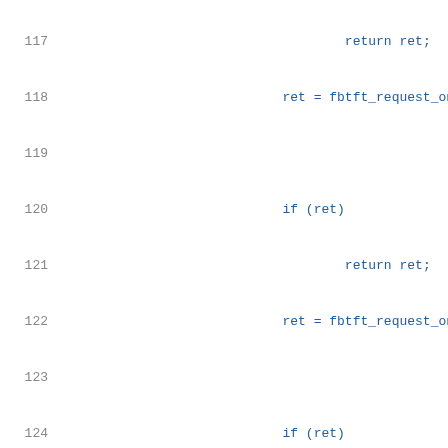[Figure (screenshot): Source code listing in a code editor showing lines 117-137 of a C file with syntax highlighting. Keywords and identifiers in blue, string/numeric literals in green, line numbers in gray.]